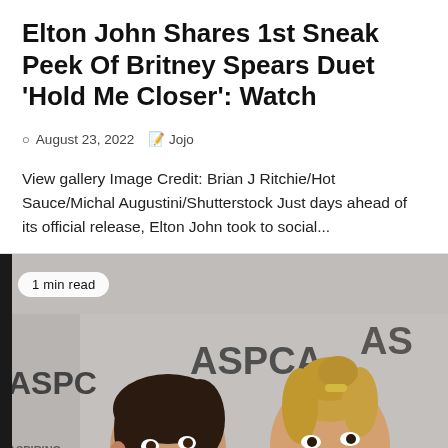Elton John Shares 1st Sneak Peek Of Britney Spears Duet 'Hold Me Closer': Watch
August 23, 2022  Jojo
View gallery Image Credit: Brian J Ritchie/Hot Sauce/Michal Augustini/Shutterstock Just days ahead of its official release, Elton John took to social...
[Figure (photo): Two women smiling at an ASPCA event. ASPCA logos visible in background. A '1 min read' badge overlaid in top-left corner. An orange back-to-top arrow button in the bottom-right.]